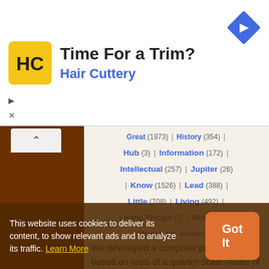[Figure (other): Hair Cuttery advertisement banner with logo, heading 'Time For a Trim?' and blue navigation icon]
Great (1973) | History (354) | Hub (3) | Information (172) | Intellectual (257) | Jupiter (26) | Know (1526) | Lead (388) | Little (708) | Living (492) | Living Things (7) | Mind (1359) | Moons Of Jupiter (2) | Nature (1973) | New (1247) | Otherwise (25) | Pageant (3) | Planet (381) | Primal (5) | Richness (14) | Ride (22) | Sun (402) | Superstition (70) | Telescope (104) | Theory (998) | Thing (1914) | Tie (39) | Tortoise (10) | Train (116) | Universe (883) | Unrelated (6) | View (494)
We developed a computer program, based on tests of a quarter-scale model of the lunar module and
This website uses cookies to deliver its content, to show relevant ads and to analyze its traffic. Learn More